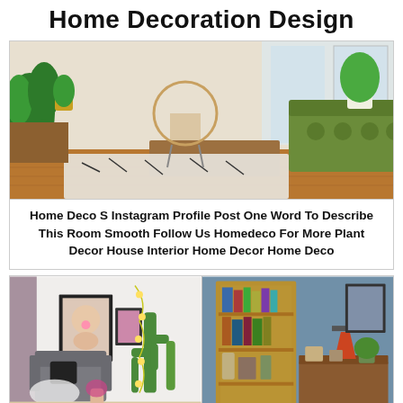Home Decoration Design
[Figure (photo): Interior living room with green tufted sofa, potted plants, wooden coffee table, patterned rug on hardwood floors]
Home Deco S Instagram Profile Post One Word To Describe This Room Smooth Follow Us Homedeco For More Plant Decor House Interior Home Decor Home Deco
[Figure (photo): Two side-by-side interior room photos: left shows a reading nook with grey armchair, artwork, cactus plants and string lights; right shows a bookshelf and desk area with orange lamp in a blue-walled room]